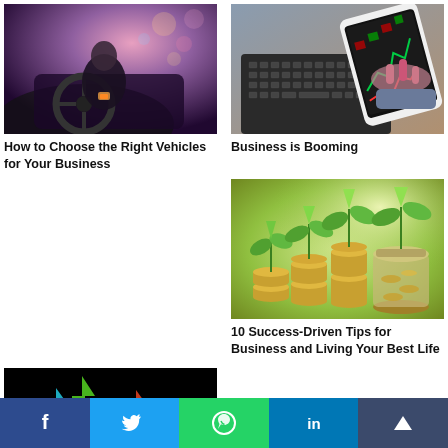[Figure (photo): Person driving a car at night with city lights in background, interior dashboard view]
How to Choose the Right Vehicles for Your Business
[Figure (photo): Hand holding a smartphone showing stock market chart, laptop keyboard in background]
Business is Booming
[Figure (photo): Stacks of coins with green plant sprouts growing from them, representing financial growth]
10 Success-Driven Tips for Business and Living Your Best Life
[Figure (photo): Colorful upward arrows on black background representing growth]
[Figure (infographic): Social share bar with Facebook, Twitter, WhatsApp, LinkedIn, and share button icons]